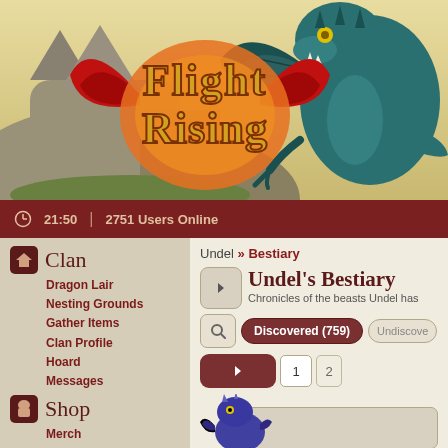[Figure (screenshot): Flight Rising game banner with logo and teal dragon illustration]
21:50  |  2751 Users Online
Clan
Dragon Lair
Nesting Grounds
Gather Items
Clan Profile
Hoard
Messages
Shop
Merch
Marketplace
Auction House
Trading Post
Crossroads
Custom Skins
Undel » Bestiary
Undel's Bestiary
Chronicles of the beasts Undel has
Discovered (759)
Undiscove...
1  2
[Figure (illustration): Fantasy monster creature (blue/purple) preview at bottom of page]